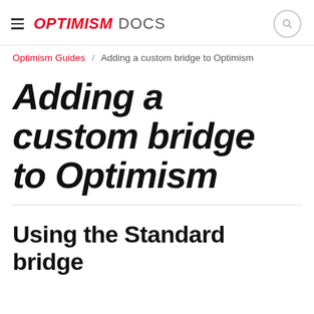≡ OPTIMISM DOCS
Optimism Guides / Adding a custom bridge to Optimism
Adding a custom bridge to Optimism
Using the Standard bridge